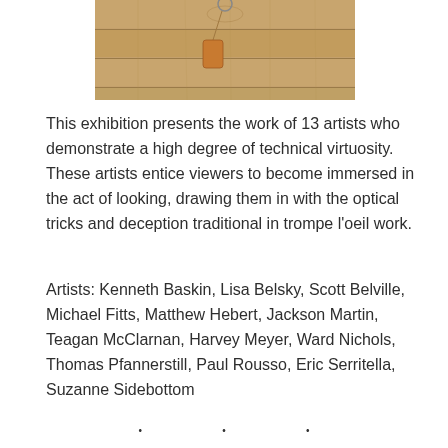[Figure (photo): Photograph of wooden planks with a small hanging tag or key fob visible, cropped at the top of the page.]
This exhibition presents the work of 13 artists who demonstrate a high degree of technical virtuosity. These artists entice viewers to become immersed in the act of looking, drawing them in with the optical tricks and deception traditional in trompe l'oeil work.
Artists: Kenneth Baskin, Lisa Belsky, Scott Belville, Michael Fitts, Matthew Hebert, Jackson Martin, Teagan McClarnan, Harvey Meyer, Ward Nichols, Thomas Pfannerstill, Paul Rousso, Eric Serritella, Suzanne Sidebottom